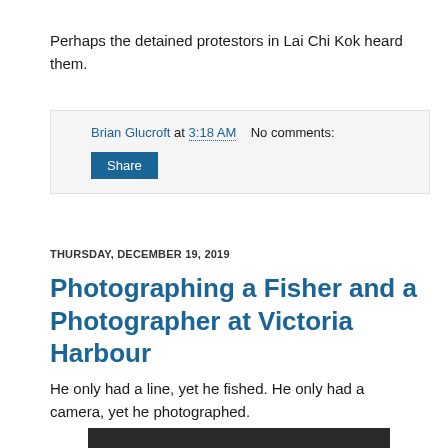Perhaps the detained protestors in Lai Chi Kok heard them.
Brian Glucroft at 3:18 AM   No comments:
Share
THURSDAY, DECEMBER 19, 2019
Photographing a Fisher and a Photographer at Victoria Harbour
He only had a line, yet he fished. He only had a camera, yet he photographed.
[Figure (photo): Partial view of a black and white photograph, likely showing a person at Victoria Harbour]